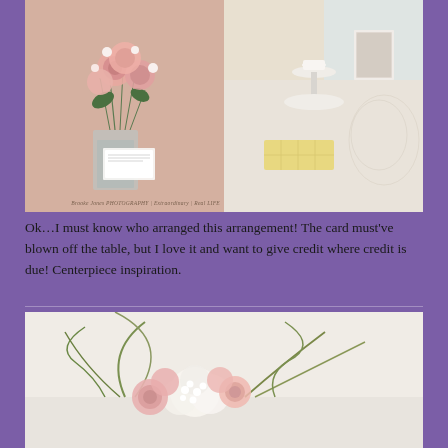[Figure (photo): Two side-by-side photos: left shows a pink floral arrangement (roses and small white flowers) in a clear glass vase with a card; right shows a table setting with lace tablecloth, tiered dessert stand, tea cup, lemon bars, and a framed photo near a window. Watermark reads 'Brooke Jones PHOTOGRAPHY | Extraordinary | Real LIFE']
Ok…I must know who arranged this arrangement!  The card must've blown off the table, but I love it and want to give credit where credit is due!  Centerpiece inspiration.
[Figure (photo): Photo of a low floral centerpiece arrangement with pink roses, white hydrangeas, and curving grass blades on a light surface.]